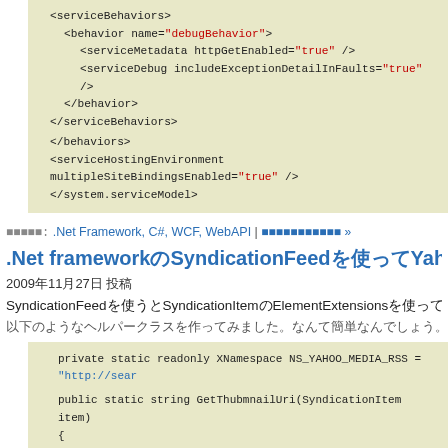[Figure (screenshot): XML code block showing serviceBehaviors, behavior, serviceMetadata, serviceDebug, and related closing tags, ending with serviceHostingEnvironment and system.serviceModel]
カテゴリ: .Net Framework, C#, WCF, WebAPI | コメントを残す »
.Net frameworkのSyndicationFeedを使ってYahoo Media RS
2009年11月27日 投稿
SyndicationFeedを使うとSyndicationItemのElementExtensionsを使って独自の拡張フィールドを
以下のようなヘルパークラスを作ってみました。なんて簡単なんでしょう。
[Figure (screenshot): C# code block showing private static readonly XNamespace NS_YAHOO_MEDIA_RSS, public static string GetThubmnailUri(SyndicationItem item), { var extensions = item.ElementExtensions.Where<SyndicationElementExte obj => obj.OuterNamespace == NS_YAHOO_MEDIA_RSS).ToArray();]